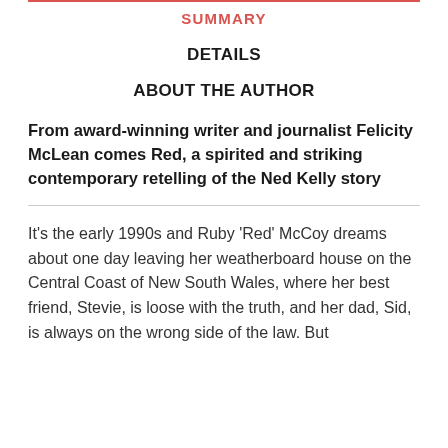SUMMARY
DETAILS
ABOUT THE AUTHOR
From award-winning writer and journalist Felicity McLean comes Red, a spirited and striking contemporary retelling of the Ned Kelly story
It's the early 1990s and Ruby 'Red' McCoy dreams about one day leaving her weatherboard house on the Central Coast of New South Wales, where her best friend, Stevie, is loose with the truth, and her dad, Sid, is always on the wrong side of the law. But